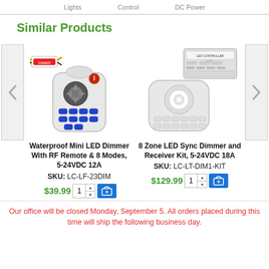Lights   Control   DC Power
Similar Products
[Figure (photo): Waterproof Mini LED Dimmer with RF remote control and inline dimmer module with yellow wires]
[Figure (photo): 8 Zone LED Sync Dimmer and Receiver Kit — white remote with round dial and white rectangular receiver unit]
Waterproof Mini LED Dimmer With RF Remote & 8 Modes, 5-24VDC 12A
8 Zone LED Sync Dimmer and Receiver Kit, 5-24VDC 18A
SKU: LC-LF-23DIM
SKU: LC-LT-DIM1-KIT
$39.99
$129.99
Our office will be closed Monday, September 5. All orders placed during this time will ship the following business day.